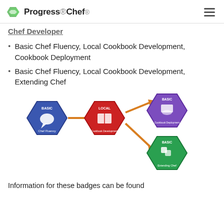Progress Chef
Chef Developer
Basic Chef Fluency, Local Cookbook Development, Cookbook Deployment
Basic Chef Fluency, Local Cookbook Development, Extending Chef
[Figure (infographic): Diagram showing badge progression: Basic Chef Fluency (blue hexagon) with arrow to Local Cookbook Development (red hexagon), which branches with arrows to Cookbook Deployment (purple hexagon) and Extending Chef (green hexagon).]
Information for these badges can be found